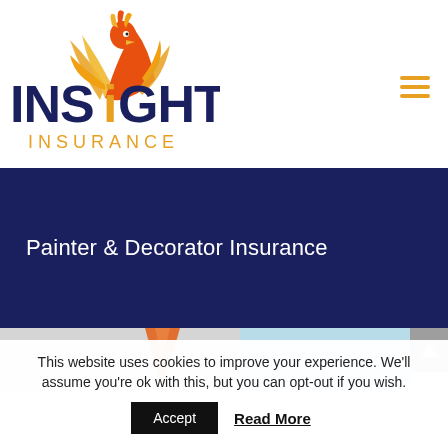[Figure (logo): Insight Insurance logo with orange phoenix bird and dark navy INSIGHT text with orange INSURANCE subtitle]
Painter & Decorator Insurance
[Figure (photo): Partial view of painting supplies including an orange paintbrush and blue painter's tape on a light grey background]
This website uses cookies to improve your experience. We'll assume you're ok with this, but you can opt-out if you wish.
Accept
Read More